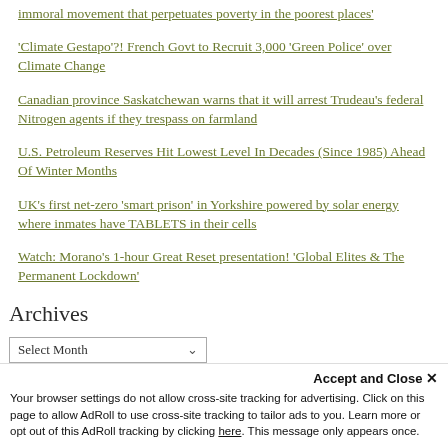immoral movement that perpetuates poverty in the poorest places'
'Climate Gestapo'?! French Govt to Recruit 3,000 'Green Police' over Climate Change
Canadian province Saskatchewan warns that it will arrest Trudeau's federal Nitrogen agents if they trespass on farmland
U.S. Petroleum Reserves Hit Lowest Level In Decades (Since 1985) Ahead Of Winter Months
UK's first net-zero 'smart prison' in Yorkshire powered by solar energy where inmates have TABLETS in their cells
Watch: Morano's 1-hour Great Reset presentation! 'Global Elites & The Permanent Lockdown'
Archives
Select Month
Accept and Close ✕
Your browser settings do not allow cross-site tracking for advertising. Click on this page to allow AdRoll to use cross-site tracking to tailor ads to you. Learn more or opt out of this AdRoll tracking by clicking here. This message only appears once.